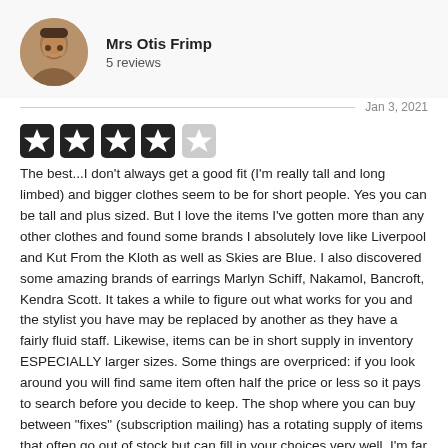[Figure (photo): Circular avatar photo of reviewer Mrs Otis Frimp]
Mrs Otis Frimp
5 reviews
Jan 3, 2021
[Figure (other): 4 filled black star icons and 1 empty/outline star icon representing a 4-star rating]
The best...I don't always get a good fit (I'm really tall and long limbed) and bigger clothes seem to be for short people. Yes you can be tall and plus sized. But I love the items I've gotten more than any other clothes and found some brands I absolutely love like Liverpool and Kut From the Kloth as well as Skies are Blue. I also discovered some amazing brands of earrings Marlyn Schiff, Nakamol, Bancroft, Kendra Scott. It takes a while to figure out what works for you and the stylist you have may be replaced by another as they have a fairly fluid staff. Likewise, items can be in short supply in inventory ESPECIALLY larger sizes. Some things are overpriced: if you look around you will find same item often half the price or less so it pays to search before you decide to keep. The shop where you can buy between "fixes" (subscription mailing) has a rotating supply of items that often go out of stock but can fill in your choices very well. I'm far better dressed than I have been in a long time and I enjoy looking